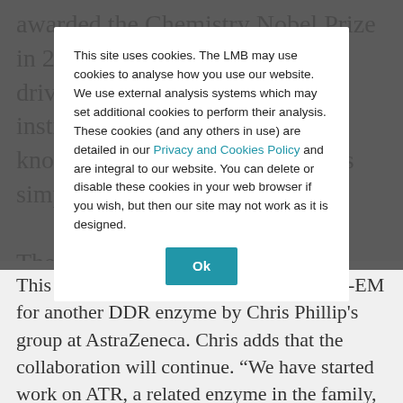awarded the Chemistry Nobel Prize in 2017. "The LMB in general drives the world's leading EM institute so to have access to this know-how and infrastructure was simply fantastic", says C... The collaboration enables both parties to understand the activation mechanism of ATM, but Chris's team have also used the same methods and reagents in their work aimed at developing inhibitors of these DDR enzymes.
This site uses cookies. The LMB may use cookies to analyse how you use our website. We use external analysis systems which may set additional cookies to perform their analysis. These cookies (and any others in use) are detailed in our Privacy and Cookies Policy and are integral to our website. You can delete or disable these cookies in your web browser if you wish, but then our site may not work as it is designed.
This work proceeded in parallel with cryo-EM for another DDR enzyme by Chris Phillip's group at AstraZeneca. Chris adds that the collaboration will continue. “We have started work on ATR, a related enzyme in the family, and continue the ATM project.  It is a case of watch this space.”